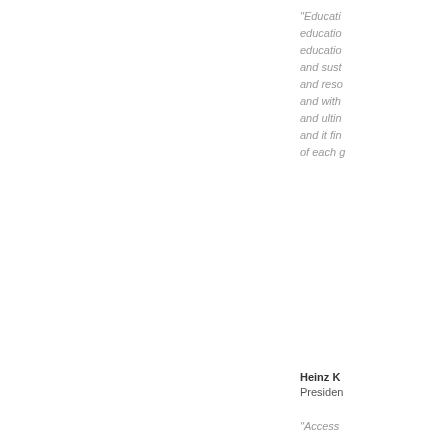"Education education education and sust and reso and with and ultin and it fin of each g
Heinz K President
"Access